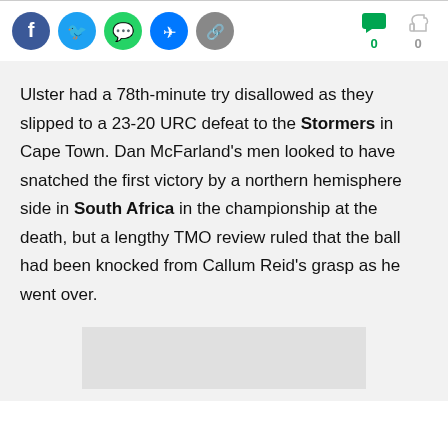[Figure (other): Social media share icons: Facebook, Twitter, WhatsApp, Messenger, Link/Copy. Also shows comment and like reaction counts, both showing 0.]
Ulster had a 78th-minute try disallowed as they slipped to a 23-20 URC defeat to the Stormers in Cape Town. Dan McFarland's men looked to have snatched the first victory by a northern hemisphere side in South Africa in the championship at the death, but a lengthy TMO review ruled that the ball had been knocked from Callum Reid's grasp as he went over.
[Figure (other): Advertisement placeholder box (gray rectangle).]